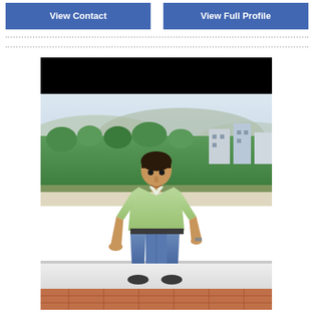View Contact
View Full Profile
[Figure (photo): Profile photo of a young man wearing a green shirt and jeans, sitting on a white wall/ledge. Background shows a cityscape with green trees and hills. Photo has black bars at top and bottom.]